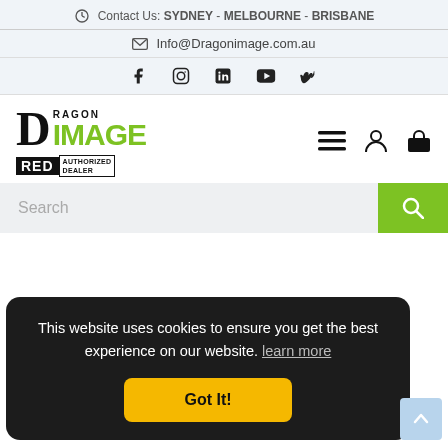Contact Us: SYDNEY - MELBOURNE - BRISBANE
Info@Dragonimage.com.au
[Figure (other): Social media icons row: Facebook, Instagram, LinkedIn, YouTube, Vimeo]
[Figure (logo): Dragon Image logo with RED Authorized Dealer badge]
[Figure (other): Navigation icons: hamburger menu, user account, shopping bag]
Search
This website uses cookies to ensure you get the best experience on our website. learn more
Got It!